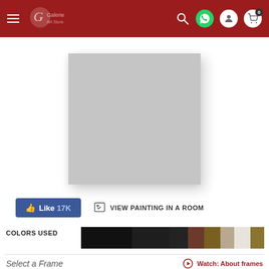Navigation bar with menu, logo, search, WhatsApp, user, and cart (0) icons
[Figure (photo): Gray square painting placeholder image displayed as product thumbnail]
👍 Like 17K
VIEW PAINTING IN A ROOM
COLORS USED
[Figure (infographic): Color strip showing colors used in the painting: black, dark brown, brown, olive/gold, light beige, white, gold/tan]
Select a Frame
Watch: About frames